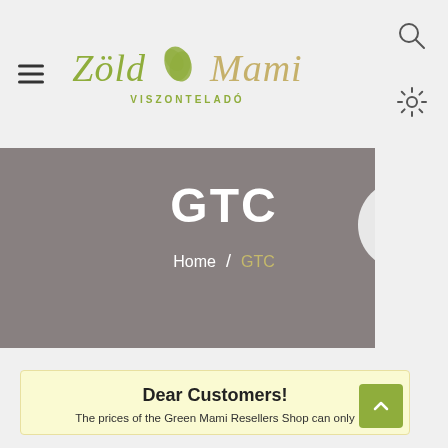[Figure (logo): Zöld Mami Viszonteladó logo with green leaf graphic and italic serif text]
GTC
Home / GTC
Dear Customers!
The prices of the Green Mami Resellers Shop can only